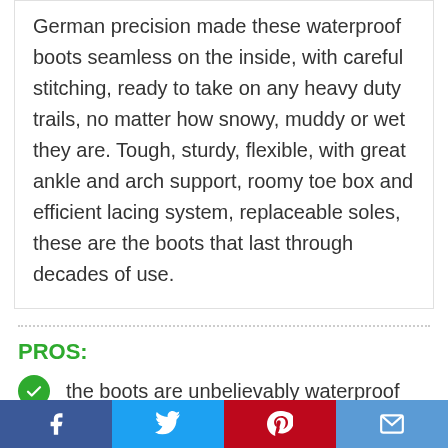German precision made these waterproof boots seamless on the inside, with careful stitching, ready to take on any heavy duty trails, no matter how snowy, muddy or wet they are. Tough, sturdy, flexible, with great ankle and arch support, roomy toe box and efficient lacing system, replaceable soles, these are the boots that last through decades of use.
PROS:
the boots are unbelievably waterproof
they are comfortable